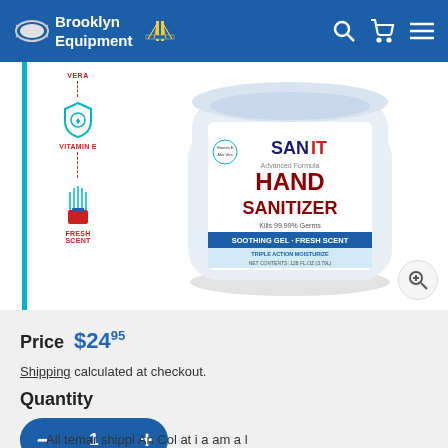Brooklyn Equipment
[Figure (photo): SANIT Advanced Formula Hand Sanitizer product page screenshot showing a white jar with label: SANIT Advanced Formula HAND SANITIZER, Kills 99.99% Germs, Soothing Gel - Fresh Scent, Triple Action Moisturize. Left side shows ingredient icons for Aloe Vera, Vitamin E, and Fresh Scent with dashed line connector.]
Price  $24.95
Shipping calculated at checkout.
Quantity
1